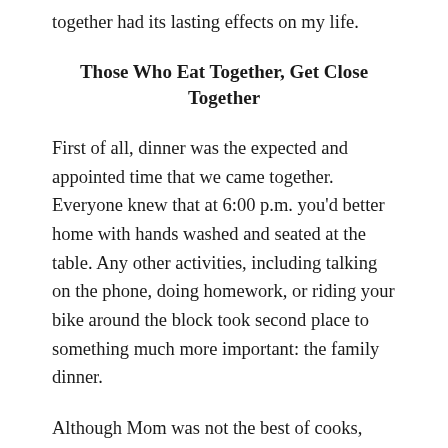together had its lasting effects on my life.
Those Who Eat Together, Get Close Together
First of all, dinner was the expected and appointed time that we came together. Everyone knew that at 6:00 p.m. you'd better home with hands washed and seated at the table. Any other activities, including talking on the phone, doing homework, or riding your bike around the block took second place to something much more important: the family dinner.
Although Mom was not the best of cooks,